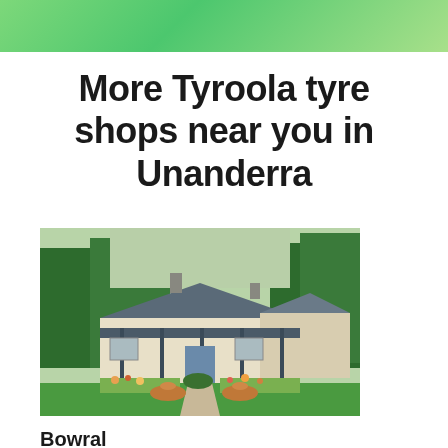[Figure (other): Green gradient decorative banner bar at top of page]
More Tyroola tyre shops near you in Unanderra
[Figure (photo): Photo of a historic Australian homestead with a verandah, manicured garden with terracotta urns, green lawn, and surrounding trees]
Bowral